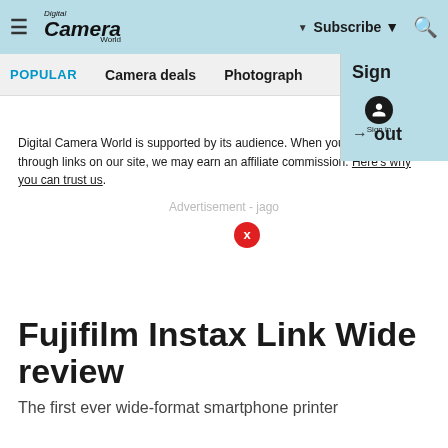Digital Camera World — Subscribe | Sign in | Sign out navigation header
POPULAR   Camera deals   Photograph
Digital Camera World is supported by its audience. When you purchase through links on our site, we may earn an affiliate commission. Here's why you can trust us.
Advertisement - jago
Fujifilm Instax Link Wide review
The first ever wide-format smartphone printer